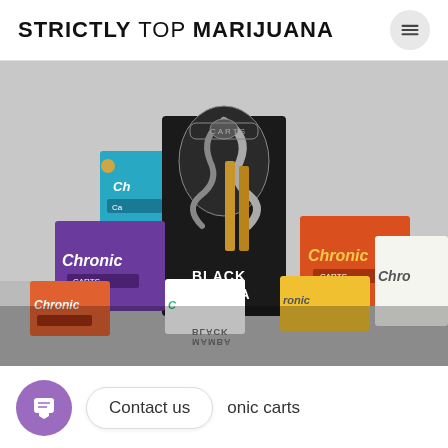STRICTLY TOP MARIJUANA
[Figure (photo): Product photo showing multiple Chronic Carts vape cartridge boxes in various colors (purple, orange, red, yellow, teal, white) arranged on a reflective surface, with a Black Mamba branded black box featuring a snake illustration in the center foreground. Two gold vape cartridges are visible protruding from the Black Mamba box.]
Contact us   onic carts